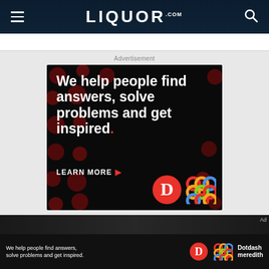LIQUOR.COM
Advertisement
[Figure (illustration): Dotdash Meredith advertisement banner with dark background featuring red polka dots. White bold text reads: 'We help people find answers, solve problems and get inspired.' with a red period. 'LEARN MORE' call to action with red arrow, Dotdash 'D' logo in red circle, and multicolored Meredith lattice logo.]
[Figure (screenshot): Bottom portion of page showing a dark image background with partial Dotdash Meredith sticky ad bar at the bottom showing 'We help people find answers, solve problems and get inspired.' with logos and 'Dotdash meredith' branding. 'Ad' label at top right.]